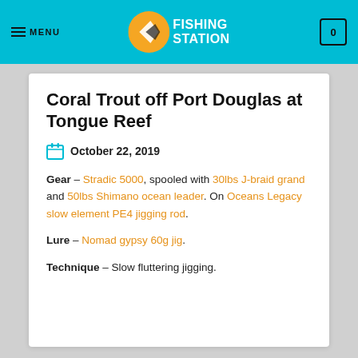MENU | FISHING STATION | 0
Coral Trout off Port Douglas at Tongue Reef
October 22, 2019
Gear – Stradic 5000, spooled with 30lbs J-braid grand and 50lbs Shimano ocean leader. On Oceans Legacy slow element PE4 jigging rod.
Lure – Nomad gypsy 60g jig.
Technique – Slow fluttering jigging.